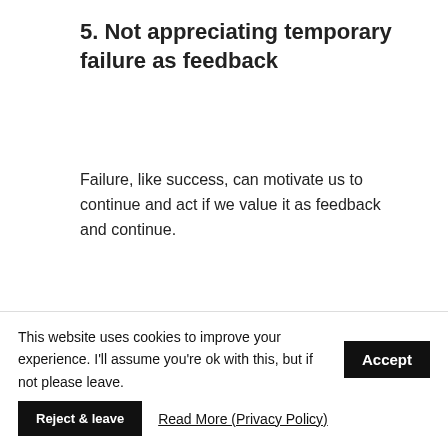5. Not appreciating temporary failure as feedback
Failure, like success, can motivate us to continue and act if we value it as feedback and continue.
6. Following a path that isn't
This website uses cookies to improve your experience. I'll assume you're ok with this, but if not please leave.
Accept
Reject & leave
Read More (Privacy Policy)